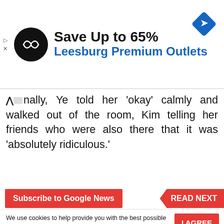[Figure (other): Advertisement banner: circular black logo with white infinity-like symbol, headline 'Save Up to 65%' in black, subheading 'Leesburg Premium Outlets' in blue, blue diamond navigation icon top right, play and close controls left side]
...nally, Ye told her 'okay' calmly and walked out of the room, Kim telling her friends who were also there that it was 'absolutely ridiculous.'
Subscribe to Google News
READ NEXT
We use cookies to help provide you with the best possible online experience. Please read our Privacy Policy for information about which cookies we use and what information we collect on our site. By continuing to use this site, you agree that we may store and access cookies on your device.
I AGREE